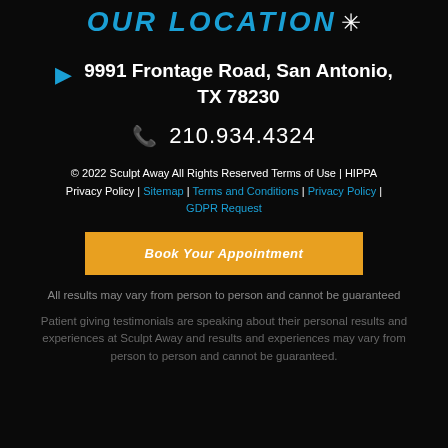OUR LOCATION ❄
9991 Frontage Road, San Antonio, TX 78230
210.934.4324
© 2022 Sculpt Away All Rights Reserved Terms of Use | HIPPA Privacy Policy | Sitemap | Terms and Conditions | Privacy Policy | GDPR Request
Book Your Appointment
All results may vary from person to person and cannot be guaranteed
Patient giving testimonials are speaking about their personal results and experiences at Sculpt Away and results and experiences may vary from person to person and cannot be guaranteed.